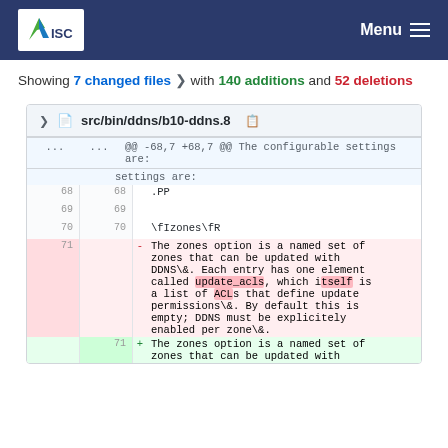ISC | Menu
Showing 7 changed files with 140 additions and 52 deletions
src/bin/ddns/b10-ddns.8
@@ -68,7 +68,7 @@ The configurable settings are:
68  68  .PP
69  69  
70  70  \fIzones\fR
71     -  The zones option is a named set of zones that can be updated with DDNS\&. Each entry has one element called update_acls, which itself is a list of ACLs that define update permissions\&. By default this is empty; DDNS must be explicitely enabled per zone\&.
    71  +  The zones option is a named set of zones that can be updated with